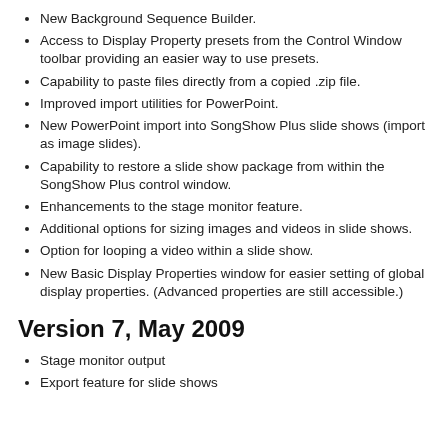New Background Sequence Builder.
Access to Display Property presets from the Control Window toolbar providing an easier way to use presets.
Capability to paste files directly from a copied .zip file.
Improved import utilities for PowerPoint.
New PowerPoint import into SongShow Plus slide shows (import as image slides).
Capability to restore a slide show package from within the SongShow Plus control window.
Enhancements to the stage monitor feature.
Additional options for sizing images and videos in slide shows.
Option for looping a video within a slide show.
New Basic Display Properties window for easier setting of global display properties. (Advanced properties are still accessible.)
Version 7, May 2009
Stage monitor output
Export feature for slide shows